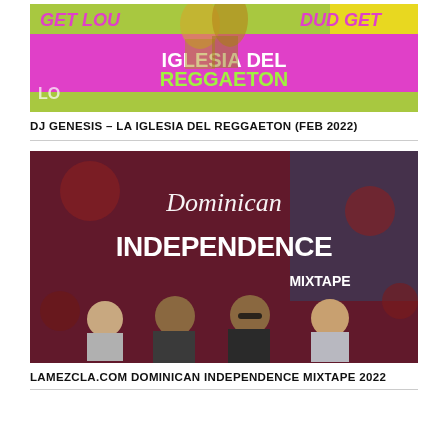[Figure (photo): Promotional flyer for DJ Genesis – La Iglesia Del Reggaeton (Feb 2022). Colorful design with pink and green background, text 'GET LOUD GET LOUD', 'IGLESIA DEL REGGAETON' in large pink and magenta letters.]
DJ GENESIS – LA IGLESIA DEL REGGAETON (FEB 2022)
[Figure (photo): Promotional image for LaMezcla.com Dominican Independence Mixtape 2022. Dark red/floral background with cursive 'Dominican' and bold 'INDEPENDENCE MIXTAPE' text, four men standing in foreground.]
LAMEZCLA.COM DOMINICAN INDEPENDENCE MIXTAPE 2022